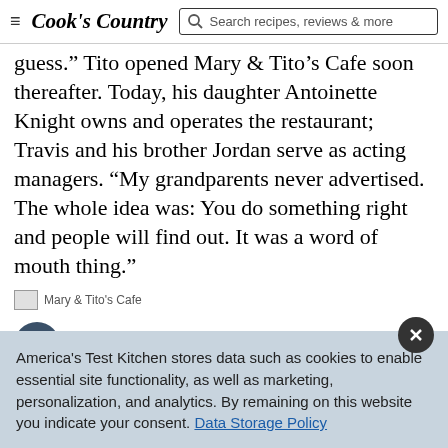Cook's Country — Search recipes, reviews & more
guess. Tito opened Mary & Tito's Cafe soon thereafter. Today, his daughter Antoinette Knight owns and operates the restaurant; Travis and his brother Jordan serve as acting managers. “My grandparents never advertised. The whole idea was: You do something right and people will find out. It was a word of mouth thing.”
Mary & Tito's Cafe
[Figure (illustration): Dark blue circle with large double quotation mark icon]
America's Test Kitchen stores data such as cookies to enable essential site functionality, as well as marketing, personalization, and analytics. By remaining on this website you indicate your consent. Data Storage Policy